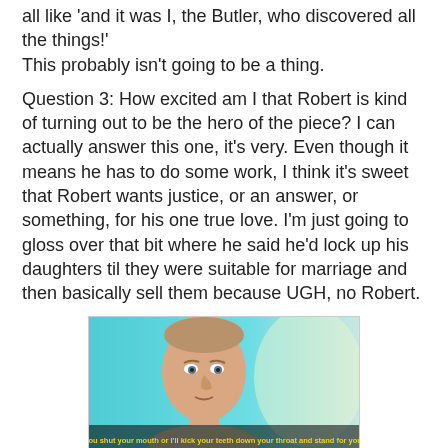all like 'and it was I, the Butler, who discovered all the things!'
This probably isn't going to be a thing.
Question 3: How excited am I that Robert is kind of turning out to be the hero of the piece? I can actually answer this one, it's very. Even though it means he has to do some work, I think it's sweet that Robert wants justice, or an answer, or something, for his one true love. I'm just going to gloss over that bit where he said he'd lock up his daughters til they were suitable for marriage and then basically sell them because UGH, no Robert.
[Figure (photo): A man (Ryan Gosling) looking serious with a teal/cyan background. Yellow subtitle text reads: 'You shut your mouth or I'll kick your teeth down your throat and stand for you.']
Question 4: Can we somehow rescue Phoebe from her MURDERY CRAZY HUSBAND? I'm not sure that those two haven't passed out of the story forever, except actually Phoebe will probably be back because of her creepy twin